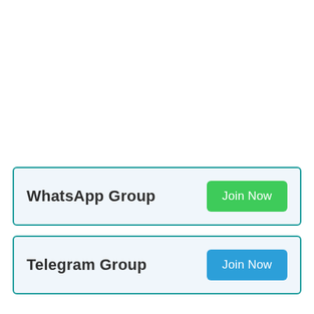WhatsApp Group — Join Now
Telegram Group — Join Now